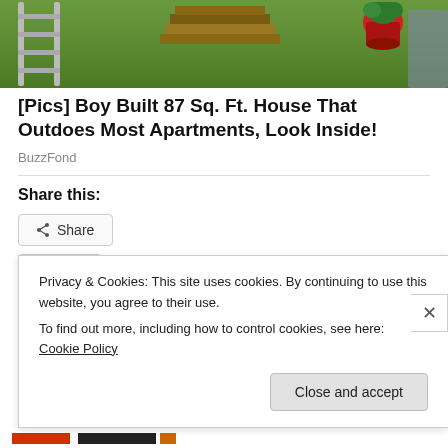[Figure (photo): Partial outdoor photo showing a lawn with a metal ladder on the left, stacked bricks/pallets in the center, and a red plant pot on the right against green grass.]
[Pics] Boy Built 87 Sq. Ft. House That Outdoes Most Apartments, Look Inside!
BuzzFond
Share this:
Share
Like
Privacy & Cookies: This site uses cookies. By continuing to use this website, you agree to their use.
To find out more, including how to control cookies, see here: Cookie Policy
Close and accept